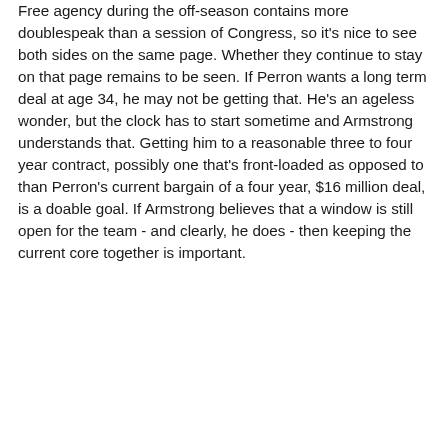Free agency during the off-season contains more doublespeak than a session of Congress, so it's nice to see both sides on the same page. Whether they continue to stay on that page remains to be seen. If Perron wants a long term deal at age 34, he may not be getting that. He's an ageless wonder, but the clock has to start sometime and Armstrong understands that. Getting him to a reasonable three to four year contract, possibly one that's front-loaded as opposed to than Perron's current bargain of a four year, $16 million deal, is a doable goal. If Armstrong believes that a window is still open for the team - and clearly, he does - then keeping the current core together is important.